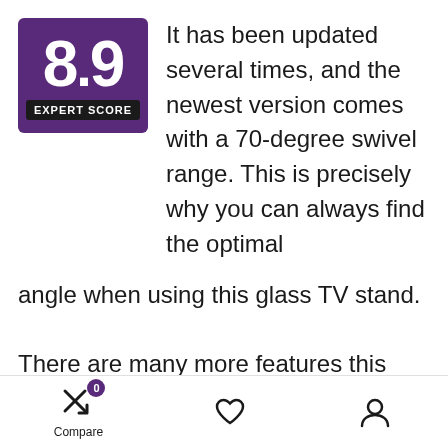[Figure (infographic): Purple square badge showing '8.9' in large white text and 'EXPERT SCORE' label on a dark bar below]
It has been updated several times, and the newest version comes with a 70-degree swivel range. This is precisely why you can always find the optimal angle when using this glass TV stand.
There are many more features this product has to add. Being a universal TV stand as well, it can be used for almost any TV. It can fit almost any 30”to 60”TV. Next, to that, it can hold up to 60lbs. This makes Huanuo’s product is reasonably sturdy considering its size. It also comes with two hanging bars in order help you
Compare